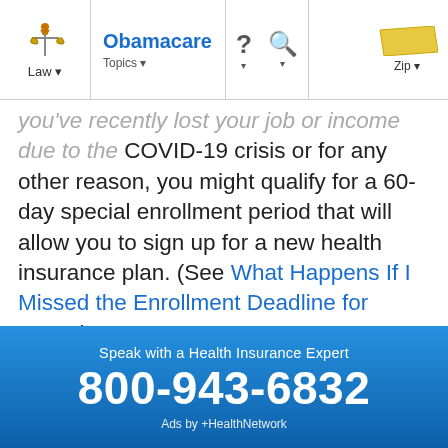Law | Obamacare Topics | ? | Search | Zip
you've recently lost your job or income due to the COVID-19 crisis or for any other reason, you might qualify for a 60-day special enrollment period that will allow you to sign up for a new health insurance plan. (See What Happens If I Missed the Enrollment Deadline for 2022?)
To get covered, you can go directly to the online health insurance marketplace for Tennessee. If you need personalized help, you can reach out to an enrollment assistant. Most enrollment helpers are
[Figure (infographic): Blue advertisement banner: 'Speak with a Health Insurance Expert' / '800-943-6832' / 'Ads by +HealthNetwork']